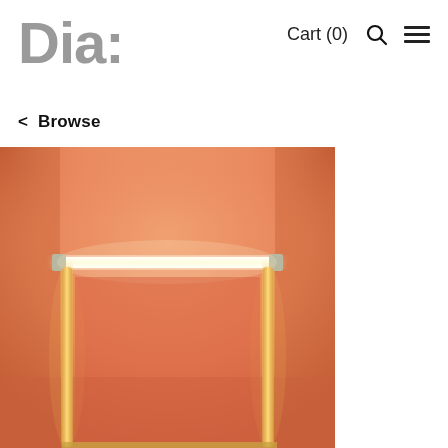Dia: | Cart (0) 🔍 ≡
< Browse
[Figure (photo): Close-up photo of an art installation featuring fluorescent light tubes mounted horizontally and vertically on an orange/salmon-colored wall, creating a glowing rectangular frame structure with warm golden-yellow light emanating from the tubes against the orange background.]